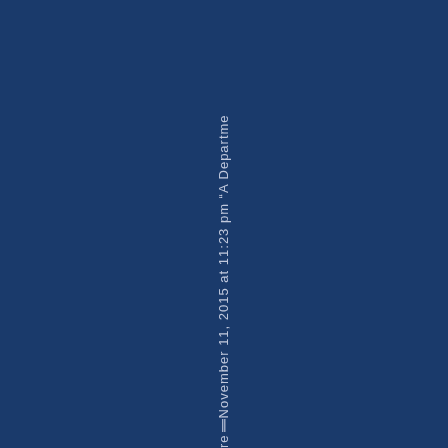re ll November 11, 2015 at 11:23 pm "A Departme